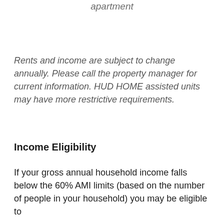apartment
Rents and income are subject to change annually. Please call the property manager for current information. HUD HOME assisted units may have more restrictive requirements.
Income Eligibility
If your gross annual household income falls below the 60% AMI limits (based on the number of people in your household) you may be eligible to